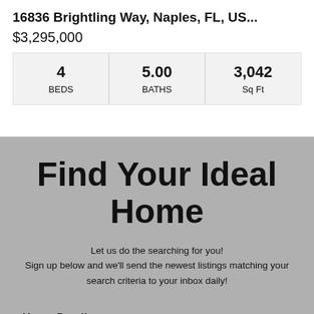16836 Brightling Way, Naples, FL, US...
$3,295,000
| 4
BEDS | 5.00
BATHS | 3,042
Sq Ft |
| --- | --- | --- |
Find Your Ideal Home
Let us do the searching for you!
Sign up below and we'll send the newest listings matching your search criteria to your inbox daily!
Home Details